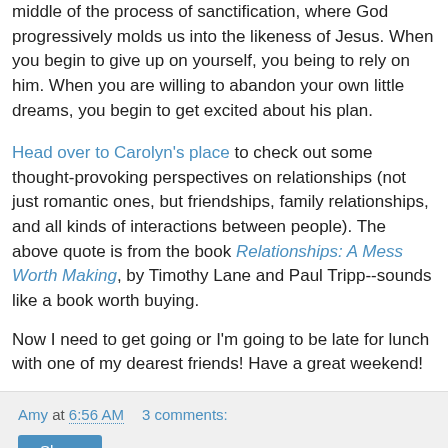middle of the process of sanctification, where God progressively molds us into the likeness of Jesus. When you begin to give up on yourself, you being to rely on him. When you are willing to abandon your own little dreams, you begin to get excited about his plan.
Head over to Carolyn's place to check out some thought-provoking perspectives on relationships (not just romantic ones, but friendships, family relationships, and all kinds of interactions between people). The above quote is from the book Relationships: A Mess Worth Making, by Timothy Lane and Paul Tripp--sounds like a book worth buying.
Now I need to get going or I'm going to be late for lunch with one of my dearest friends! Have a great weekend!
Amy at 6:56 AM    3 comments: